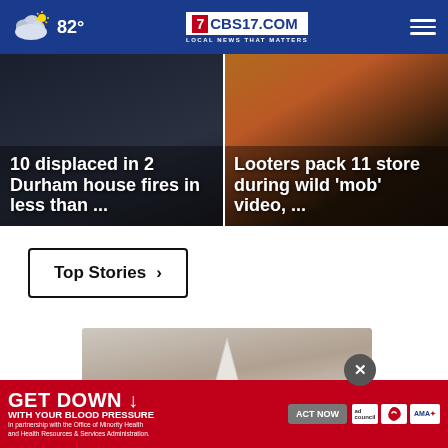82° | CBS17.COM LOCAL NEWS THAT MATTERS
10 displaced in 2 Durham house fires in less than ...
Looters pack 11 store during wild 'mob' video, ...
Top Stories ›
[Figure (photo): Hand holding a white conical smart camera device]
[Figure (infographic): GET DOWN WITH YOUR BLOOD PRESSURE advertisement banner with ACT NOW button, ad council and AMA logos]